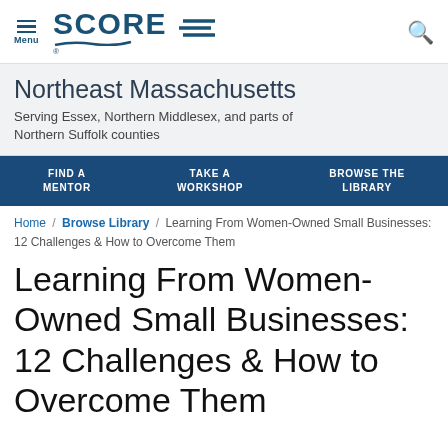SCORE — Northeast Massachusetts chapter header with navigation
Northeast Massachusetts
Serving Essex, Northern Middlesex, and parts of Northern Suffolk counties
FIND A MENTOR | TAKE A WORKSHOP | BROWSE THE LIBRARY
Home / Browse Library / Learning From Women-Owned Small Businesses: 12 Challenges & How to Overcome Them
Learning From Women-Owned Small Businesses: 12 Challenges & How to Overcome Them